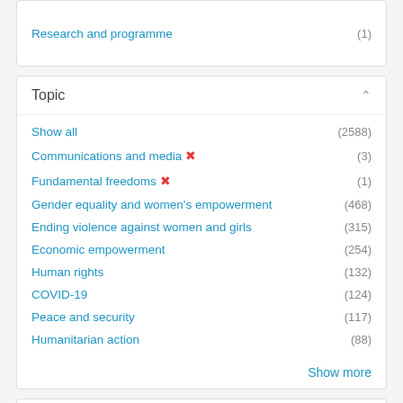Research and programme (1)
Topic
Show all (2588)
Communications and media (3)
Fundamental freedoms (1)
Gender equality and women's empowerment (468)
Ending violence against women and girls (315)
Economic empowerment (254)
Human rights (132)
COVID-19 (124)
Peace and security (117)
Humanitarian action (88)
Show more
Region